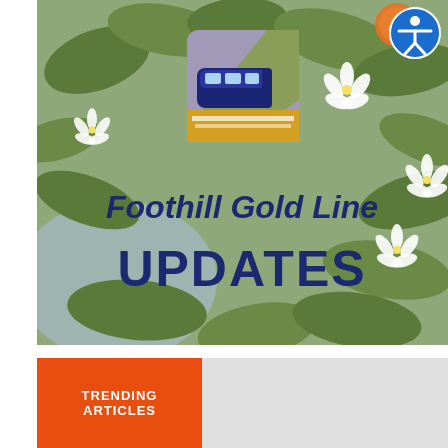[Figure (illustration): Foothill Gold Line Updates banner image. Background shows orange blossoms and citrus fruit leaves in muted green tones. Center-top has the Foothill Gold Line logo (a commuter train on purple/tan/gold background). Large bold dark navy blue text reads 'Foothill Gold Line' in italic and 'UPDATES' in all caps below. A blue circle accessibility icon is in the top-right corner.]
Foothill Gold Line
UPDATES
TRENDING ARTICLES